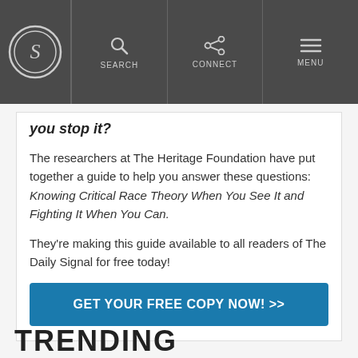S [logo] | SEARCH | CONNECT | MENU
you stop it?
The researchers at The Heritage Foundation have put together a guide to help you answer these questions: Knowing Critical Race Theory When You See It and Fighting It When You Can.
They're making this guide available to all readers of The Daily Signal for free today!
GET YOUR FREE COPY NOW! >>
TRENDING